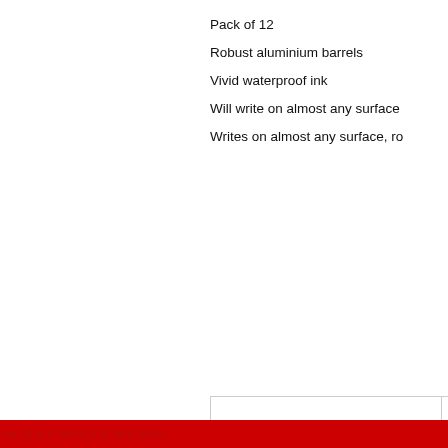Pack of 12
Robust aluminium barrels
Vivid waterproof ink
Will write on almost any surface
Writes on almost any surface, ro
[Figure (photo): Edding 800 Chisel Tip Permanent Marker Extra Large Black product photo showing markers and packaging]
ED82852
Edding 800 Chisel Tip Permanent Marker Extra Large Black (Pack of 5)
800/5-001
Your Price: £56.57
VIEW
Pentel Bullet Red (Pa
Your
v4.52.0.6 20211115 452.0060